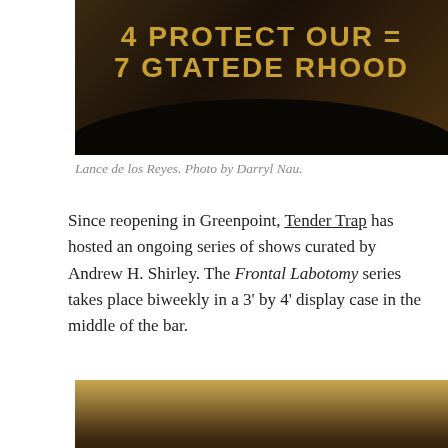[Figure (photo): Photo of a person (silhouette) in front of a graffiti sign reading 'PROTECT OUR GTATEDE RHOOD' (Protect Our Grated Brotherhood/Neighborhood) with warm golden lettering on dark background.]
Lance de los Reyes. Photo by Darryl Nau.
Since reopening in Greenpoint, Tender Trap has hosted an ongoing series of shows curated by Andrew H. Shirley. The Frontal Labotomy series takes place biweekly in a 3' by 4' display case in the middle of the bar.
[Figure (photo): Interior photo of a bar display case with shelves of artworks/items lit from inside, with a person's silhouette visible in the foreground.]